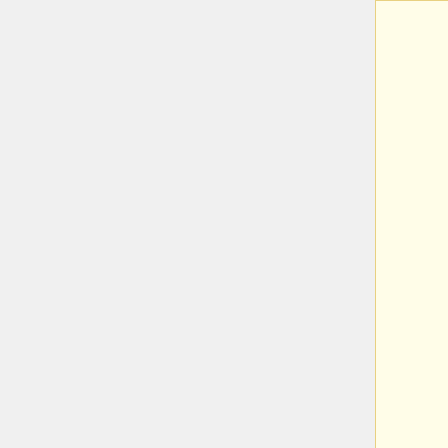ioinica offer future analysis of this reduction mechanism [http://ijs.sgmjournals.org/cgi/content/full/56/8/1911#T1 (Haichun Gao et al.)].
==Ecology==
==Ecology==
(Describe any interactions with other organisms
Shewanella are are facultative anaerobes, able to grow